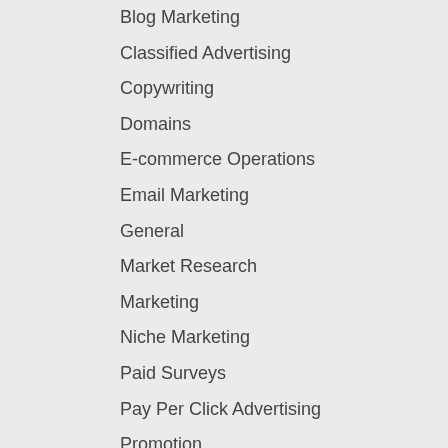Blog Marketing
Classified Advertising
Copywriting
Domains
E-commerce Operations
Email Marketing
General
Market Research
Marketing
Niche Marketing
Paid Surveys
Pay Per Click Advertising
Promotion
SEM & SEO
Social Media Marketing
Submitters
Video Marketing